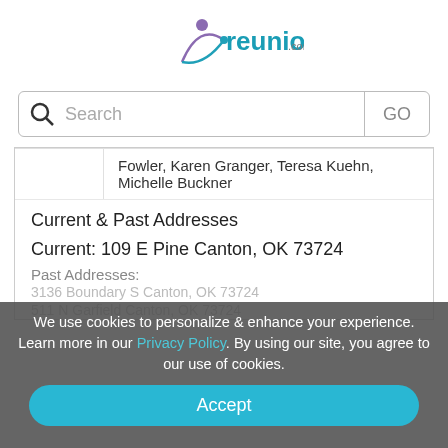[Figure (logo): reunion.com logo with figure icon]
Search GO
Fowler, Karen Granger, Teresa Kuehn, Michelle Buckner
Current & Past Addresses
Current: 109 E Pine Canton, OK 73724
Past Addresses:
We use cookies to personalize & enhance your experience. Learn more in our Privacy Policy. By using our site, you agree to our use of cookies.
Accept